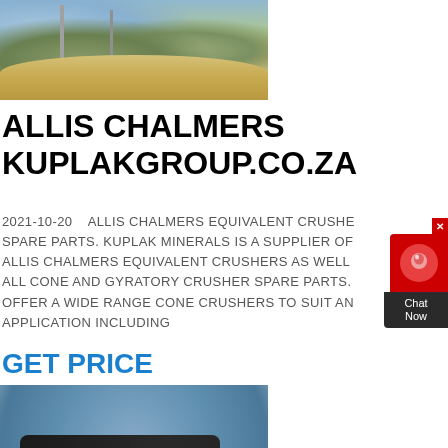[Figure (photo): Aerial/ground view of an open-pit mining or quarry site with machinery, sand piles, and excavation equipment]
ALLIS CHALMERS KUPLAKGROUP.CO.ZA
2021-10-20    ALLIS CHALMERS EQUIVALENT CRUSHERS SPARE PARTS. KUPLAK MINERALS IS A SUPPLIER OF ALLIS CHALMERS EQUIVALENT CRUSHERS AS WELL ALL CONE AND GYRATORY CRUSHER SPARE PARTS. OFFER A WIDE RANGE CONE CRUSHERS TO SUIT ANY APPLICATION INCLUDING
GET PRICE
[Figure (photo): Close-up photograph of a cone crusher or jaw crusher machine with a large flywheel, painted black and yellow, with mountain landscape in background]